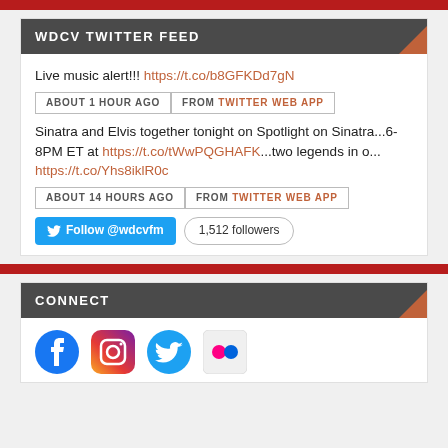WDCV TWITTER FEED
Live music alert!!! https://t.co/b8GFKDd7gN
ABOUT 1 HOUR AGO | FROM TWITTER WEB APP
Sinatra and Elvis together tonight on Spotlight on Sinatra...6-8PM ET at https://t.co/tWwPQGHAFK...two legends in o... https://t.co/Yhs8iklR0c
ABOUT 14 HOURS AGO | FROM TWITTER WEB APP
Follow @wdcvfm | 1,512 followers
CONNECT
[Figure (illustration): Social media icons: Facebook, Instagram, Twitter, Flickr]